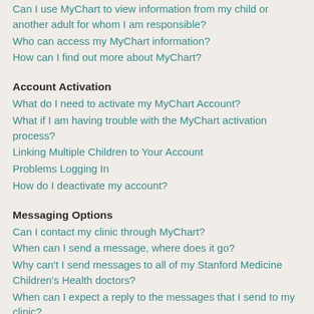Can I use MyChart to view information from my child or another adult for whom I am responsible?
Who can access my MyChart information?
How can I find out more about MyChart?
Account Activation
What do I need to activate my MyChart Account?
What if I am having trouble with the MyChart activation process?
Linking Multiple Children to Your Account
Problems Logging In
How do I deactivate my account?
Messaging Options
Can I contact my clinic through MyChart?
When can I send a message, where does it go?
Why can't I send messages to all of my Stanford Medicine Children's Health doctors?
When can I expect a reply to the messages that I send to my clinic?